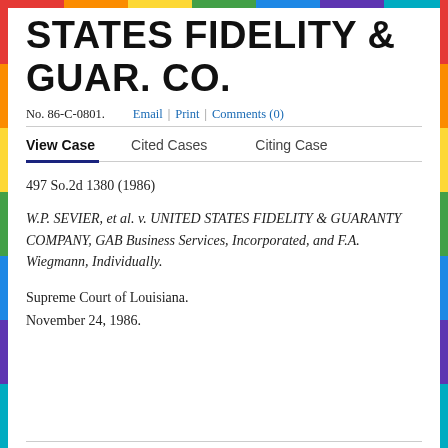STATES FIDELITY & GUAR. CO.
No. 86-C-0801.   Email | Print | Comments (0)
View Case   Cited Cases   Citing Case
497 So.2d 1380 (1986)
W.P. SEVIER, et al. v. UNITED STATES FIDELITY & GUARANTY COMPANY, GAB Business Services, Incorporated, and F.A. Wiegmann, Individually.
Supreme Court of Louisiana.
November 24, 1986.